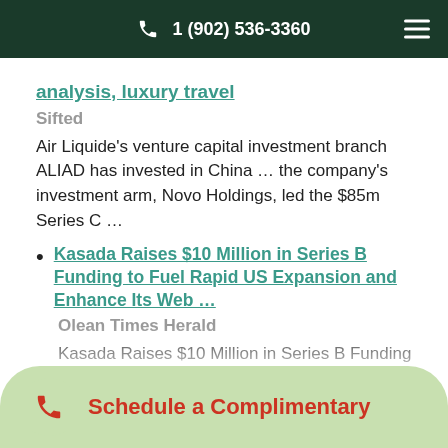1 (902) 536-3360
analysis, luxury travel
Sifted
Air Liquide's venture capital investment branch ALIAD has invested in China … the company's investment arm, Novo Holdings, led the $85m Series C …
Kasada Raises $10 Million in Series B Funding to Fuel Rapid US Expansion and Enhance Its Web …
Olean Times Herald
Kasada Raises $10 Million in Series B Funding to Rapid … ture c … the … from Olean Times …
Schedule a Complimentary